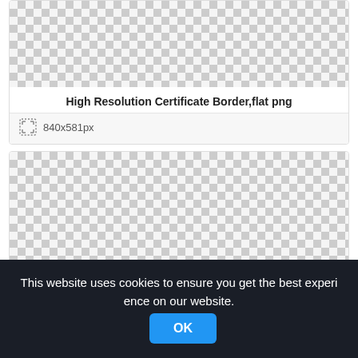[Figure (screenshot): Checkered transparency pattern (top portion of image card)]
High Resolution Certificate Border,flat png
840x581px
[Figure (screenshot): Checkered transparency pattern (second image card, larger)]
This website uses cookies to ensure you get the best experience on our website.
OK